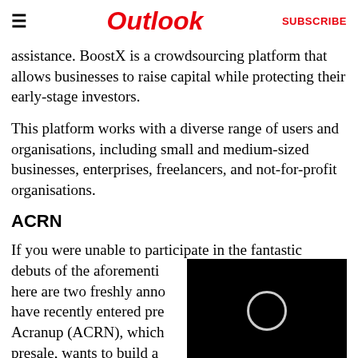≡   Outlook   SUBSCRIBE
assistance. BoostX is a crowdsourcing platform that allows businesses to raise capital while protecting their early-stage investors.
This platform works with a diverse range of users and organisations, including small and medium-sized businesses, enterprises, freelancers, and not-for-profit organisations.
ACRN
If you were unable to participate in the fantastic debuts of the aforementi… here are two freshly anno… have recently entered pre… Acranup (ACRN), which … presale, wants to build a …